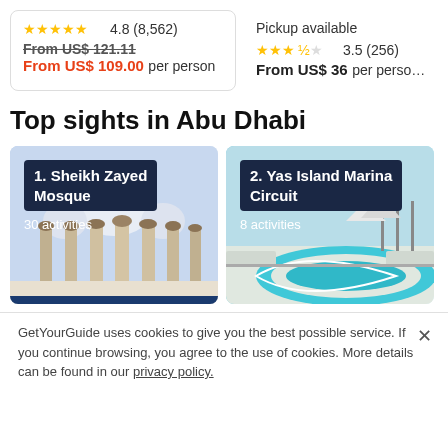4.8 (8,562) From US$ 121.11 From US$ 109.00 per person
Pickup available 3.5 (256) From US$ 36 per person
Top sights in Abu Dhabi
[Figure (photo): Sheikh Zayed Mosque photo card with label '1. Sheikh Zayed Mosque' and '30 activities']
[Figure (photo): Yas Island Marina Circuit photo card with label '2. Yas Island Marina Circuit' and '8 activities']
GetYourGuide uses cookies to give you the best possible service. If you continue browsing, you agree to the use of cookies. More details can be found in our privacy policy.